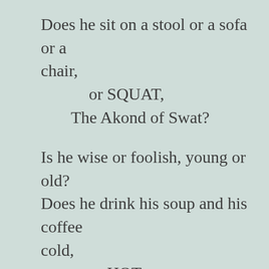Does he sit on a stool or a sofa or a chair,
    or SQUAT,
 The Akond of Swat?

Is he wise or foolish, young or old?
Does he drink his soup and his coffee cold,
    or HOT,
 The Akond of Swat?